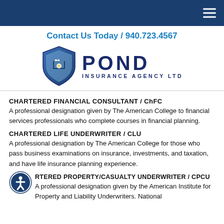Contact Us Today / 940.723.4567
[Figure (logo): Pond Insurance Agency Ltd logo with shield icon containing a lighthouse/tower]
CHARTERED FINANCIAL CONSULTANT / ChFC
A professional designation given by The American College to financial services professionals who complete courses in financial planning.
CHARTERED LIFE UNDERWRITER / CLU
A professional designation by The American College for those who pass business examinations on insurance, investments, and taxation, and have life insurance planning experience.
CHARTERED PROPERTY/CASUALTY UNDERWRITER / CPCU
A professional designation given by the American Institute for Property and Liability Underwriters. National...